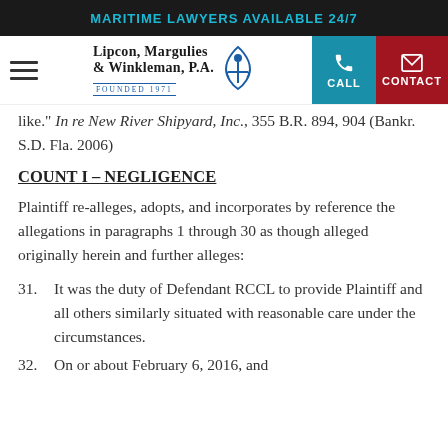MARITIME LAWYERS AVAILABLE 24/7
[Figure (logo): Lipcon, Margulies & Winkleman, P.A. Founded 1971 logo with anchor icon, plus CALL and CONTACT navigation buttons]
like." In re New River Shipyard, Inc., 355 B.R. 894, 904 (Bankr. S.D. Fla. 2006)
COUNT I – NEGLIGENCE
Plaintiff re-alleges, adopts, and incorporates by reference the allegations in paragraphs 1 through 30 as though alleged originally herein and further alleges:
31. It was the duty of Defendant RCCL to provide Plaintiff and all others similarly situated with reasonable care under the circumstances.
32. On or about February 6, 2016, and